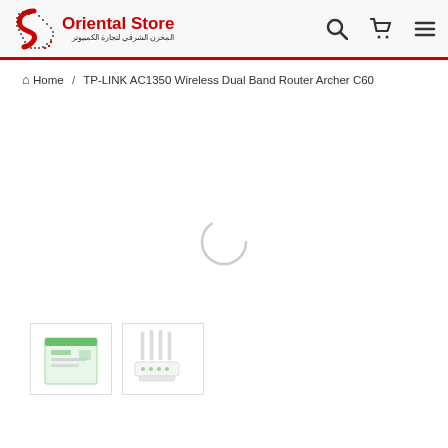[Figure (logo): Oriental Store logo with red S-shaped icon and text 'Oriental Store' in red with Arabic subtitle]
Home / TP-LINK AC1350 Wireless Dual Band Router Archer C60
[Figure (other): Loading spinner circle in the center of a white product image area]
[Figure (photo): Two product thumbnails at the bottom: a TP-LINK router box and a router unit with antennas]